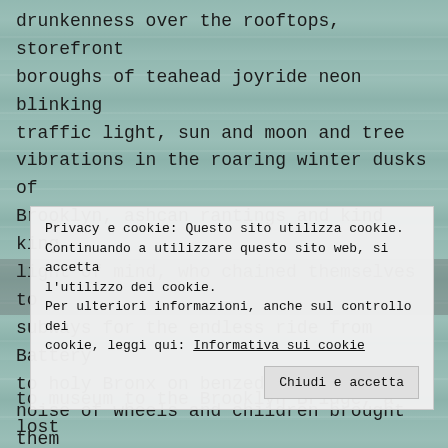drunkenness over the rooftops, storefront boroughs of teahead joyride neon blinking traffic light, sun and moon and tree vibrations in the roaring winter dusks of Brooklyn, ashcan rantings and kind king light of mind, who chained themselves to subways for the endless ride from Battery to holy Bronx on benzedrine until the noise of wheels and children brought them down shuddering mouth-wracked and battered bleak of brain all drained of brilliance in the drear light of Zoo, who sank all
Privacy e cookie: Questo sito utilizza cookie. Continuando a utilizzare questo sito web, si accetta l'utilizzo dei cookie. Per ulteriori informazioni, anche sul controllo dei cookie, leggi qui: Informativa sui cookie
Chiudi e accetta
to museum to the Brooklyn Bridge, a lost